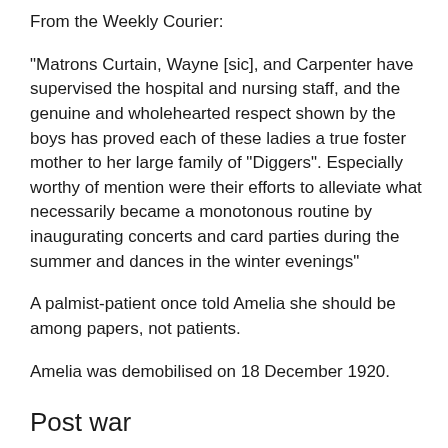From the Weekly Courier:
"Matrons Curtain, Wayne [sic], and Carpenter have supervised the hospital and nursing staff, and the genuine and wholehearted respect shown by the boys has proved each of these ladies a true foster mother to her large family of "Diggers". Especially worthy of mention were their efforts to alleviate what necessarily became a monotonous routine by inaugurating concerts and card parties during the summer and dances in the winter evenings"
A palmist-patient once told Amelia she should be among papers, not patients.
Amelia was demobilised on 18 December 1920.
Post war